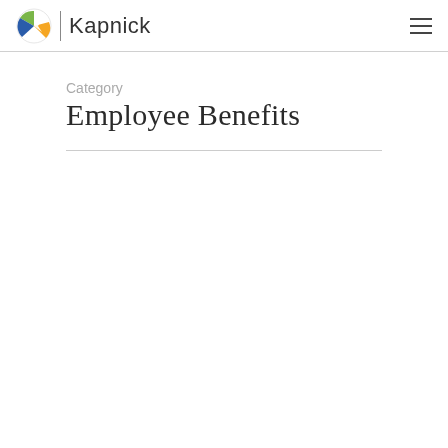Kapnick
Category
Employee Benefits